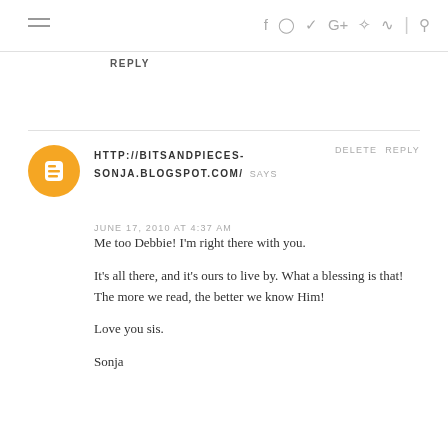hamburger menu | social icons: f, instagram, twitter, G+, pinterest, rss, search
REPLY
HTTP://BITSANDPIECES-SONJA.BLOGSPOT.COM/ SAYS | DELETE REPLY | JUNE 17, 2010 AT 4:37 AM
Me too Debbie! I'm right there with you.

It's all there, and it's ours to live by. What a blessing is that!
The more we read, the better we know Him!

Love you sis.

Sonja